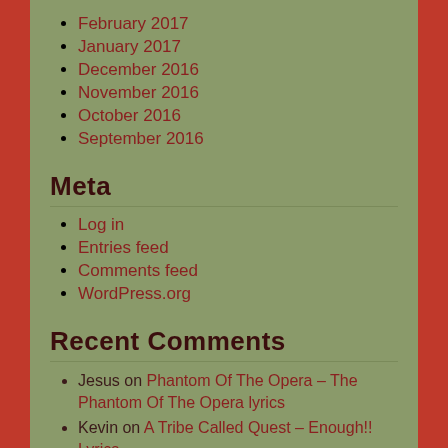February 2017
January 2017
December 2016
November 2016
October 2016
September 2016
Meta
Log in
Entries feed
Comments feed
WordPress.org
Recent Comments
Jesus on Phantom Of The Opera – The Phantom Of The Opera lyrics
Kevin on A Tribe Called Quest – Enough!! Lyrics